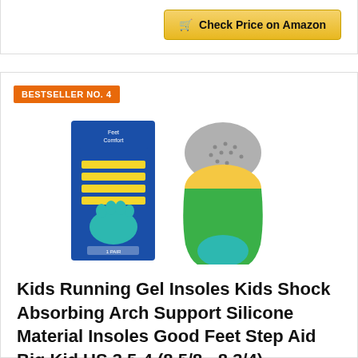[Figure (other): Check Price on Amazon button at top of page]
BESTSELLER NO. 4
[Figure (photo): Kids gel insole product image showing blue packaging and green/yellow/grey insole]
Kids Running Gel Insoles Kids Shock Absorbing Arch Support Silicone Material Insoles Good Feet Step Aid Big Kid US 3.5-4 (8 5/8 - 8 3/4)